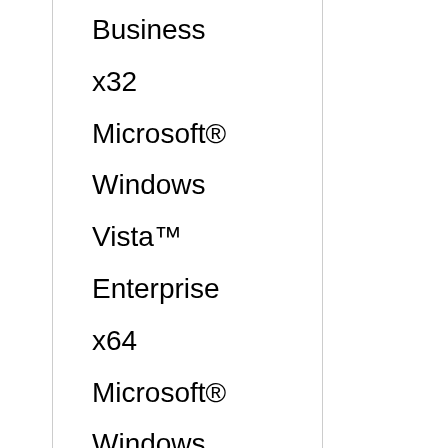Business x32
Microsoft® Windows Vista™ Enterprise x64
Microsoft® Windows Vista™ Enterprise x32
Microsoft® Windows Vista™ Home Premium x64
Microsoft Windows XP Home